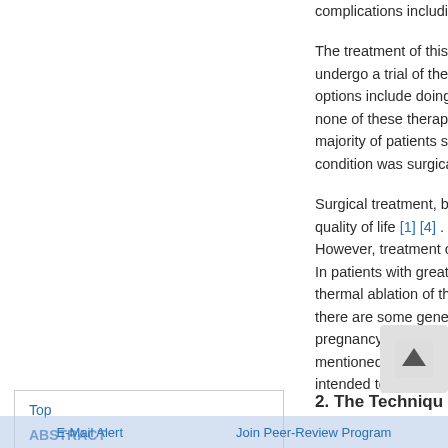complications including pa
The treatment of this dis... undergo a trial of therapy... options include doing reg... none of these therapies,... majority of patients seek... condition was surgical stri
Surgical treatment, based... quality of life [1] [4] . Over... However, treatment of var... In patients with great sa... thermal ablation of the in... there are some general... pregnancy during course... mentioned above, there b... intended to present a new
Top
ABSTRACT
Introduction
The Technique of Sono-Guided Endostripping
Materials & Methods
Results
Discussion
E-Mail Alert   Join Peer-Review Program
2. The Techniqu